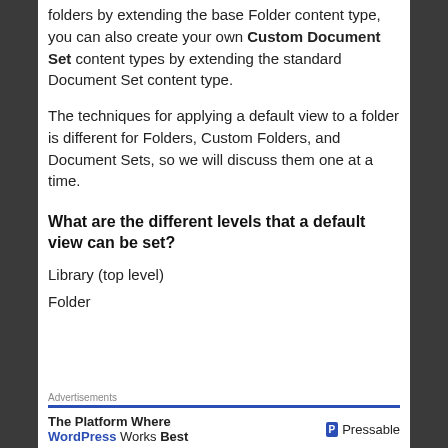folders by extending the base Folder content type, you can also create your own Custom Document Set content types by extending the standard Document Set content type.
The techniques for applying a default view to a folder is different for Folders, Custom Folders, and Document Sets, so we will discuss them one at a time.
What are the different levels that a default view can be set?
Library (top level)
Folder
Advertisements — The Platform Where WordPress Works Best — Pressable